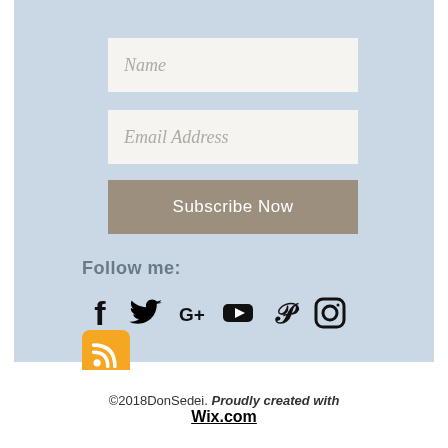[Figure (screenshot): Newsletter subscription form with Name and Email Address input fields and a Subscribe Now button, on a light blue background]
Follow me:
[Figure (infographic): Row of social media icons: Facebook, Twitter, Google+, YouTube, Pinterest, Instagram, and an orange RSS feed icon]
©2018DonSedei. Proudly created with Wix.com